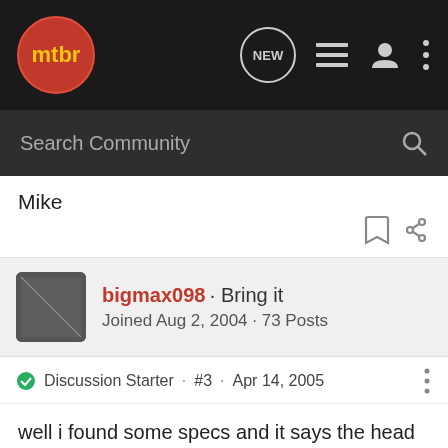[Figure (logo): mtbr logo in red circle on dark nav bar with navigation icons]
Search Community
Mike
bigmax098 · Bring it
Joined Aug 2, 2004 · 73 Posts
Discussion Starter · #3 · Apr 14, 2005
well i found some specs and it says the head tube length is 5"...how is a lower crown going to help with a cut steerer length?? it will still be the same length.